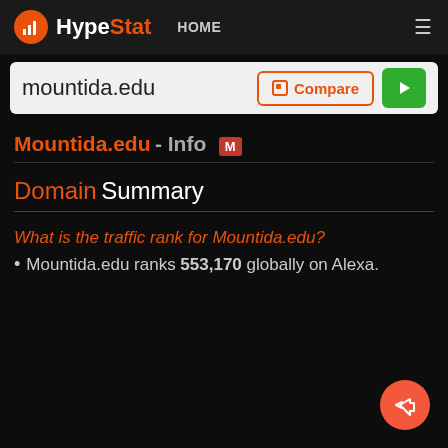HypeStat - HOME
mountida.edu
Mountida.edu - Info
Domain Summary
What is the traffic rank for Mountida.edu?
Mountida.edu ranks 553,170 globally on Alexa.